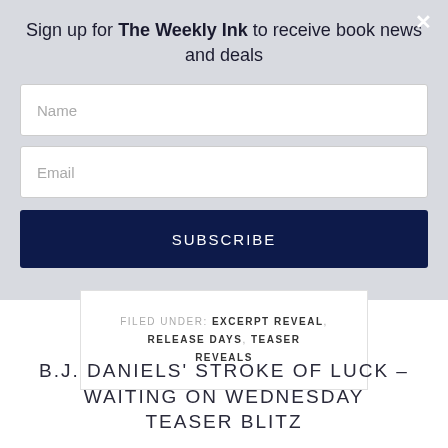Sign up for The Weekly Ink to receive book news and deals
Name
Email
SUBSCRIBE
FILED UNDER: EXCERPT REVEAL, RELEASE DAYS, TEASER REVEALS
B.J. DANIELS' STROKE OF LUCK – WAITING ON WEDNESDAY TEASER BLITZ